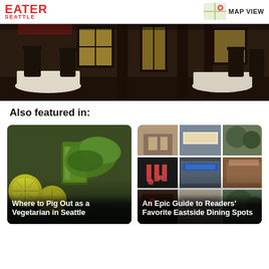EATER SEATTLE
[Figure (photo): Interior of a restaurant dining room with dark wood chairs, white tablecloths, and windows]
Also featured in:
[Figure (photo): Green juice with limes and lettuce on a dark background with text overlay: Where to Pig Out as a Vegetarian in Seattle]
Where to Pig Out as a Vegetarian in Seattle
[Figure (photo): Collage of restaurant photos for Eastside dining spots with text overlay: An Epic Guide to Readers' Favorite Eastside Dining Spots]
An Epic Guide to Readers' Favorite Eastside Dining Spots